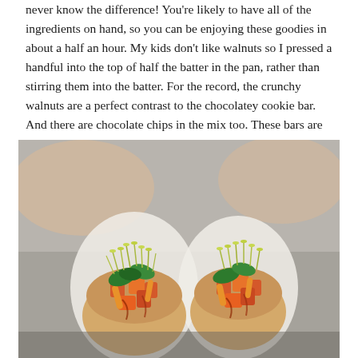never know the difference! You're likely to have all of the ingredients on hand, so you can be enjoying these goodies in about a half an hour. My kids don't like walnuts so I pressed a handful into the top of half the batter in the pan, rather than stirring them into the batter. For the record, the crunchy walnuts are a perfect contrast to the chocolatey cookie bar. And there are chocolate chips in the mix too. These bars are not too sweet - just right.
[Figure (photo): Close-up photo of two pita bread wraps held in hands, filled with roasted orange/red vegetables (tofu or squash), green leafy vegetables, carrots, and topped with sprouts, wrapped in white paper.]